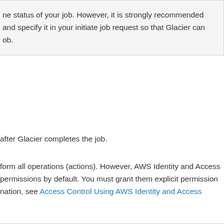ne status of your job. However, it is strongly recommended and specify it in your initiate job request so that Glacier can ob.
after Glacier completes the job.
form all operations (actions). However, AWS Identity and Access permissions by default. You must grant them explicit permission nation, see Access Control Using AWS Identity and Access
ation, see the documentation for the underlying REST API oper Guide .